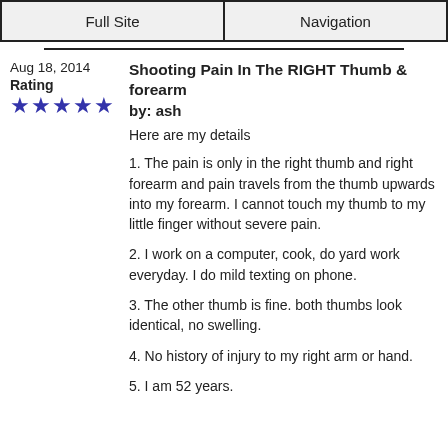Full Site | Navigation
Aug 18, 2014
Rating
★★★★★
Shooting Pain In The RIGHT Thumb & forearm
by: ash
Here are my details
1. The pain is only in the right thumb and right forearm and pain travels from the thumb upwards into my forearm. I cannot touch my thumb to my little finger without severe pain.
2. I work on a computer, cook, do yard work everyday. I do mild texting on phone.
3. The other thumb is fine. both thumbs look identical, no swelling.
4. No history of injury to my right arm or hand.
5. I am 52 years.